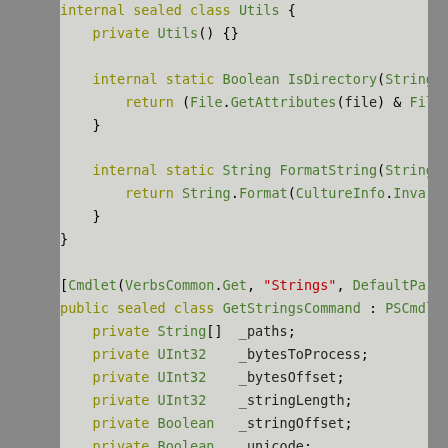[Figure (screenshot): Source code screenshot showing C# code with syntax highlighting. Code includes an internal sealed class Utils with methods IsDirectory and FormatString, followed by a public sealed class GetStringsCommand with private fields.]